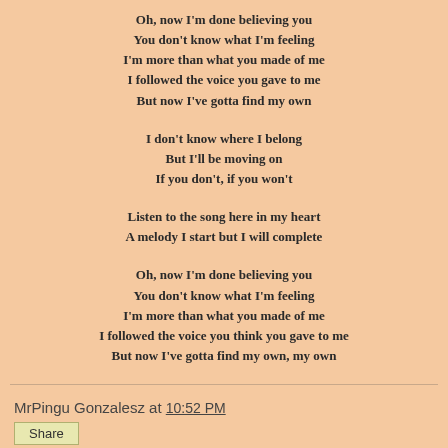Oh, now I'm done believing you
You don't know what I'm feeling
I'm more than what you made of me
I followed the voice you gave to me
But now I've gotta find my own
I don't know where I belong
But I'll be moving on
If you don't, if you won't
Listen to the song here in my heart
A melody I start but I will complete
Oh, now I'm done believing you
You don't know what I'm feeling
I'm more than what you made of me
I followed the voice you think you gave to me
But now I've gotta find my own, my own
MrPingu Gonzalesz at 10:52 PM
Share
No comments: